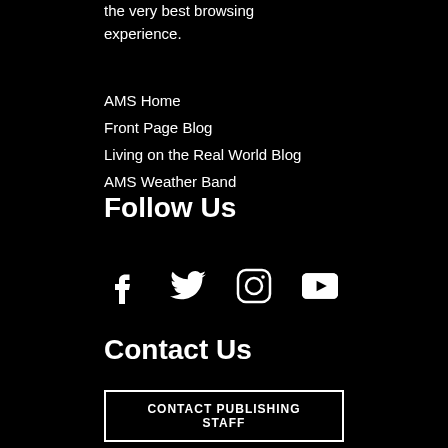the very best browsing experience.
AMS Home
Front Page Blog
Living on the Real World Blog
AMS Weather Band
Follow Us
[Figure (infographic): Social media icons: Facebook, Twitter, Instagram, YouTube]
Contact Us
CONTACT PUBLISHING STAFF
EMAIL & PHONE CONTACTS